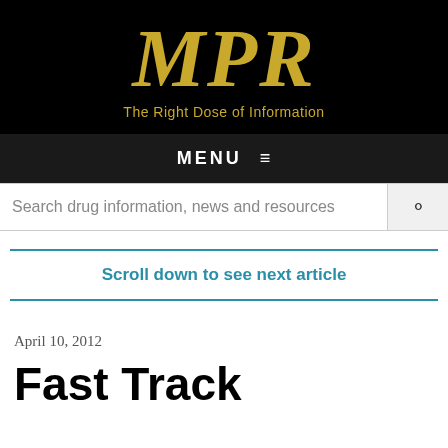MPR — The Right Dose of Information
MENU ☰
Search drug information, news and resources
Scroll down to see next article
April 10, 2012
Fast Track